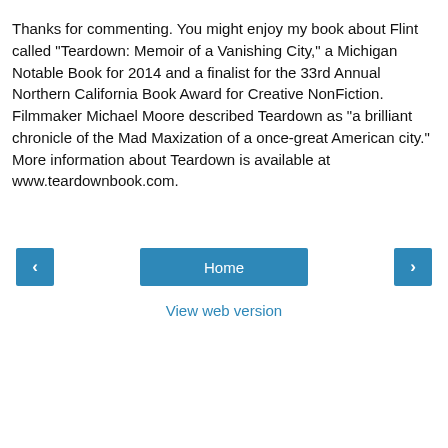Thanks for commenting. You might enjoy my book about Flint called "Teardown: Memoir of a Vanishing City," a Michigan Notable Book for 2014 and a finalist for the 33rd Annual Northern California Book Award for Creative NonFiction. Filmmaker Michael Moore described Teardown as "a brilliant chronicle of the Mad Maxization of a once-great American city." More information about Teardown is available at www.teardownbook.com.
‹   Home   ›
View web version